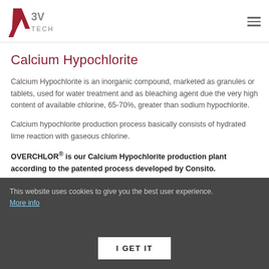3V TECH
Calcium Hypochlorite
Calcium Hypochlorite is an inorganic compound, marketed as granules or tablets, used for water treatment and as bleaching agent due the very high content of available chlorine, 65-70%, greater than sodium hypochlorite.
Calcium hypochlorite production process basically consists of hydrated lime reaction with gaseous chlorine.
OVERCHLOR® is our Calcium Hypochlorite production plant according to the patented process developed by Consito.
This website uses cookies to give you the best user experience. More info
I GET IT